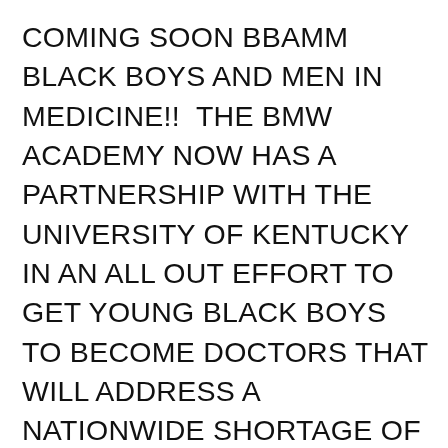COMING SOON BBAMM BLACK BOYS AND MEN IN MEDICINE!!  THE BMW ACADEMY NOW HAS A PARTNERSHIP WITH THE UNIVERSITY OF KENTUCKY IN AN ALL OUT EFFORT TO GET YOUNG BLACK BOYS TO BECOME DOCTORS THAT WILL ADDRESS A NATIONWIDE SHORTAGE OF BLACK DOCTORS.  BMW IS SO EXCITED TO BE A PARTNER IS PRODUCING THE NEXT GENERATION OF DOCTORS.   CHECK OUT KARVER THE CARDIOLOGIST!